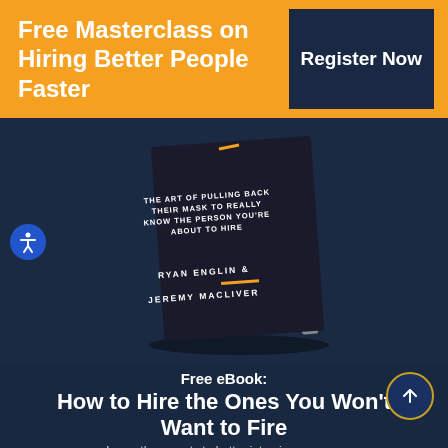Free Masterclass on Hiring Better People Faster
Register Now
[Figure (photo): Book cover titled 'The Art of Pulling Back Their Mask to Really Know the Person You're About to Hire' by Ryan Englin & Jeremy Macliver, shown against a dark navy background]
Free eBook:
How to Hire the Ones You Won't Want to Fire
Learn the secrets to better interviews so you